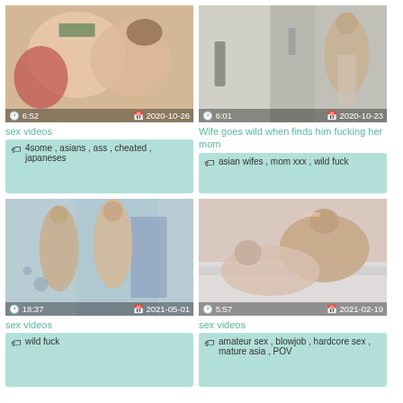[Figure (photo): Video thumbnail showing multiple people, duration 6:52, date 2020-10-26]
sex videos
4some , asians , ass , cheated , japaneses
[Figure (photo): Video thumbnail showing woman near door, duration 6:01, date 2020-10-23]
Wife goes wild when finds him fucking her mom
asian wifes , mom xxx , wild fuck
[Figure (photo): Video thumbnail showing couple near wall, duration 18:37, date 2021-05-01]
sex videos
wild fuck
[Figure (photo): Video thumbnail showing couple on bed, duration 5:57, date 2021-02-19]
sex videos
amateur sex , blowjob , hardcore sex , mature asia , POV